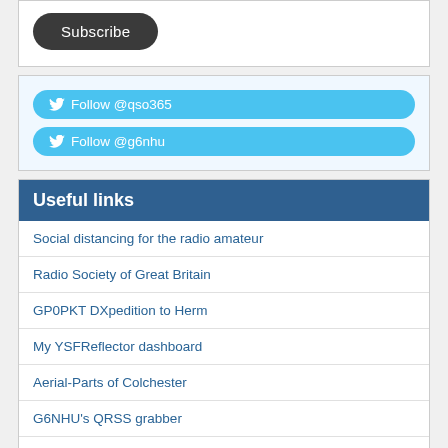[Figure (other): Subscribe button — dark rounded pill button with white text]
[Figure (other): Twitter follow buttons — two blue rounded buttons: Follow @qso365 and Follow @g6nhu]
Useful links
Social distancing for the radio amateur
Radio Society of Great Britain
GP0PKT DXpedition to Herm
My YSFReflector dashboard
Aerial-Parts of Colchester
G6NHU's QRSS grabber
Martello Tower Group
DX Code of Conduct